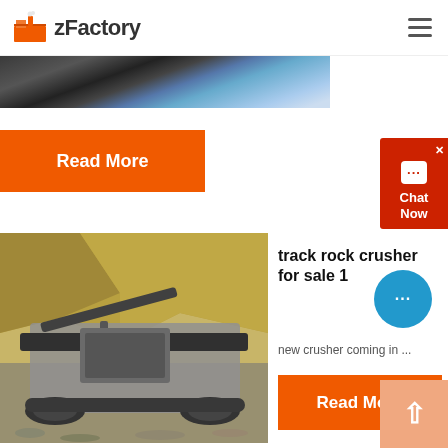zFactory
[Figure (photo): Partial view of a machine or industrial equipment in blue and grey tones — top strip image]
Read More
[Figure (other): Chat Now widget — red background with chat bubble icon and text 'Chat Now']
[Figure (photo): Track rock crusher in a quarry — large mobile jaw crusher on tracks in an open rock quarry]
track rock crusher for sale 1
new crusher coming in ...
Read More
[Figure (other): Blue circular chat button with ellipsis dots]
[Figure (other): Scroll to top button — light orange/peach square with upward arrow]